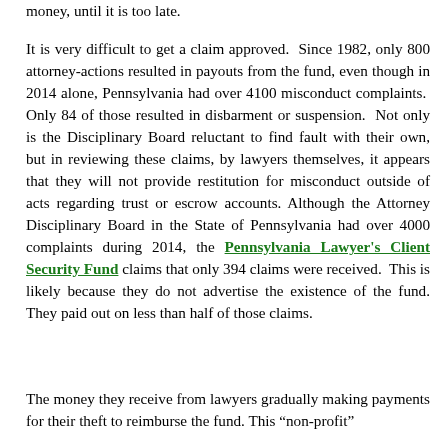money, until it is too late.
It is very difficult to get a claim approved.  Since 1982, only 800 attorney-actions resulted in payouts from the fund, even though in 2014 alone, Pennsylvania had over 4100 misconduct complaints.  Only 84 of those resulted in disbarment or suspension.  Not only is the Disciplinary Board reluctant to find fault with their own, but in reviewing these claims, by lawyers themselves, it appears that they will not provide restitution for misconduct outside of acts regarding trust or escrow accounts. Although the Attorney Disciplinary Board in the State of Pennsylvania had over 4000 complaints during 2014, the Pennsylvania Lawyer's Client Security Fund claims that only 394 claims were received.  This is likely because they do not advertise the existence of the fund. They paid out on less than half of those claims.
The money they receive from lawyers gradually making payments for their theft to reimburse the fund. This "non-profit"